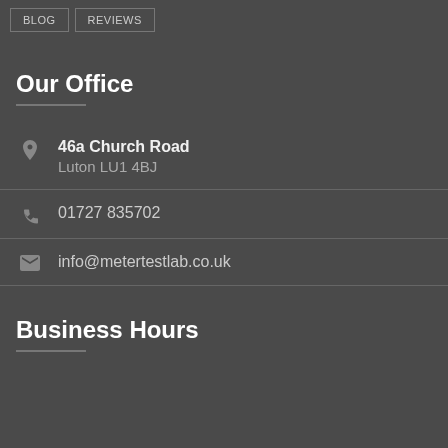BLOG | REVIEWS
Our Office
46a Church Road
Luton LU1 4BJ
01727 835702
info@metertestlab.co.uk
Business Hours